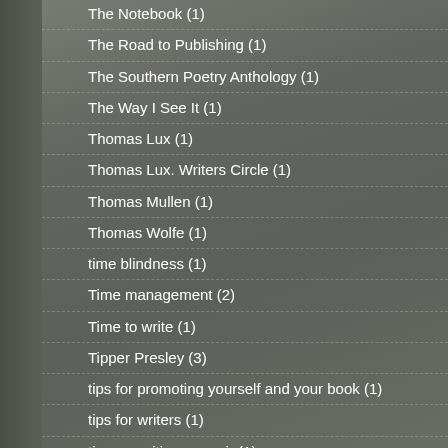The Notebook (1)
The Road to Publishing (1)
The Southern Poetry Anthology (1)
The Way I See It (1)
Thomas Lux (1)
Thomas Lux. Writers Circle (1)
Thomas Mullen (1)
Thomas Wolfe (1)
time blindness (1)
Time management (2)
Time to write (1)
Tipper Presley (3)
tips for promoting yourself and your book (1)
tips for writers (1)
tips on writing memoir (1)
To Dannce with the White Dog (1)
toads (1)
Toilet paper (1)
Tom Davis (1)